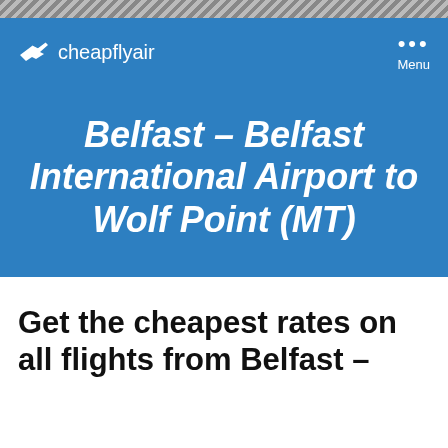cheapflyair
Belfast – Belfast International Airport to Wolf Point (MT)
Get the cheapest rates on all flights from Belfast –